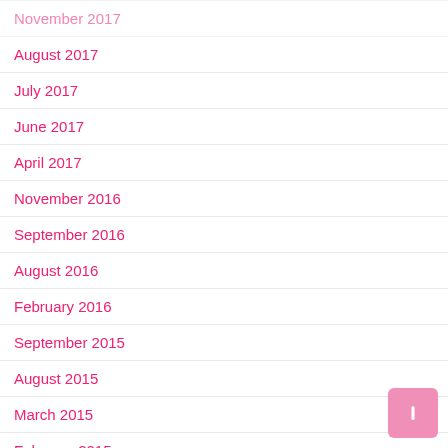November 2017
August 2017
July 2017
June 2017
April 2017
November 2016
September 2016
August 2016
February 2016
September 2015
August 2015
March 2015
February 2015
January 2015
December 2014